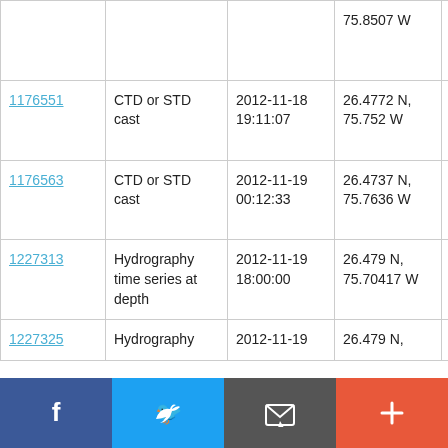| ID | Type | Date/Time | Location | Vessel |
| --- | --- | --- | --- | --- |
|  |  |  | 75.8507 W | RRS Discovery D382 |
| 1176551 | CTD or STD cast | 2012-11-18 19:11:07 | 26.4772 N, 75.752 W | RRS Discovery D382 |
| 1176563 | CTD or STD cast | 2012-11-19 00:12:33 | 26.4737 N, 75.7636 W | RRS Discovery D382 |
| 1227313 | Hydrography time series at depth | 2012-11-19 18:00:00 | 26.479 N, 75.70417 W | RRS Discovery D382 |
| 1227325 | Hydrography | 2012-11-19 | 26.479 N, | RRS |